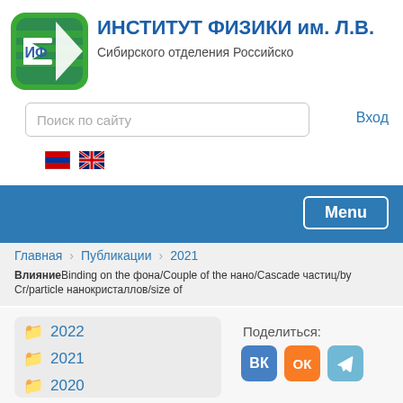[Figure (logo): Institute of Physics logo - green circular emblem with sigma/ИФ letters]
ИНСТИТУТ ФИЗИКИ им. Л.В.
Сибирского отделения Российско
Поиск по сайту
Вход
[Figure (illustration): Russian flag icon]
[Figure (illustration): UK/English flag icon]
Menu
Главная  Публикации  2021
Влияние/Binding on the фона/Couple of the нано/Cascade частиц/by Cr/particle нанокристаллов/size of
2022
2021
2020
Поделиться: